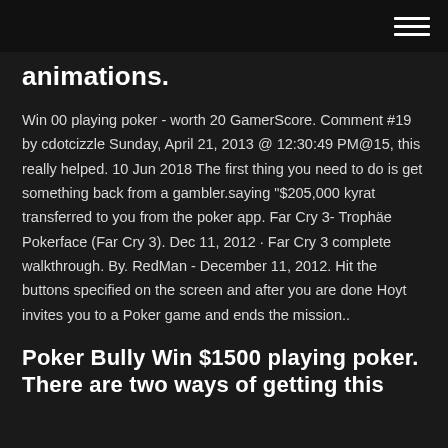[hamburger menu icon]
animations.
Win 00 playing poker - worth 20 GamerScore. Comment #19 by cdotcizzle Sunday, April 21, 2013 @ 12:30:49 PM@15, this really helped. 10 Jun 2018 The first thing you need to do is get something back from a gambler.saying "$205,000 kyrat transferred to you from the poker app. Far Cry 3- Trophäe Pokerface (Far Cry 3). Dec 11, 2012 · Far Cry 3 complete walkthrough. By. RedMan - December 11, 2012. Hit the buttons specified on the screen and after you are done Hoyt invites you to a Poker game and ends the mission..
Poker Bully Win $1500 playing poker. There are two ways of getting this